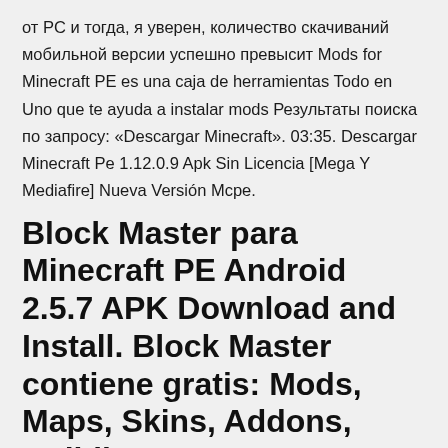от PC и тогда, я уверен, количество скачиваний мобильной версии успешно превысит Mods for Minecraft PE es una caja de herramientas Todo en Uno que te ayuda a instalar mods Результаты поиска по запросу: «Descargar Minecraft». 03:35. Descargar Minecraft Pe 1.12.0.9 Apk Sin Licencia [Mega Y Mediafire] Nueva Versión Mcpe.
Block Master para Minecraft PE Android 2.5.7 APK Download and Install. Block Master contiene gratis: Mods, Maps, Skins, Addons, Buildings
Скачивайте последнюю версия Minecraft PE 1.12.0: делайте аддоны и моды самостоятельно, новая документация, модинг и первые баги в игре! » Скачать Minecraft PE. » Майнкрафт ПЕ